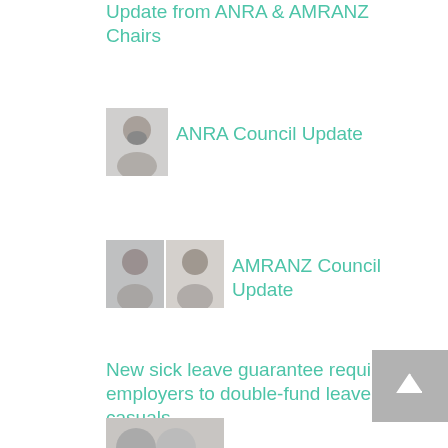Update from ANRA & AMRANZ Chairs
[Figure (photo): Headshot of a man with beard in suit]
ANRA Council Update
[Figure (photo): Two headshots side by side: a woman and a man]
AMRANZ Council Update
New sick leave guarantee requires employers to double-fund leave for casuals
[Figure (photo): Partial headshots at bottom of page]
[Figure (other): Back to top arrow button, grey background]